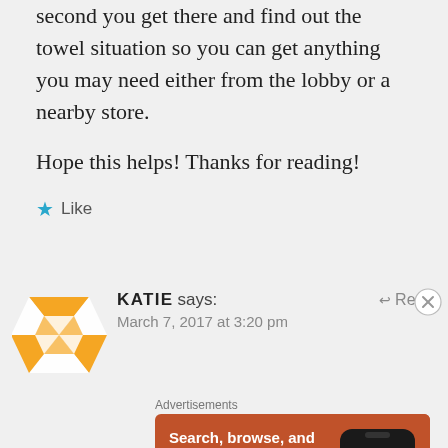second you get there and find out the towel situation so you can get anything you may need either from the lobby or a nearby store.
Hope this helps! Thanks for reading!
★ Like
KATIE says:   March 7, 2017 at 3:20 pm   ↩ Reply
Advertisements
[Figure (infographic): DuckDuckGo advertisement banner: orange background with text 'Search, browse, and email with more privacy. All in One Free App' and a phone graphic showing DuckDuckGo app]